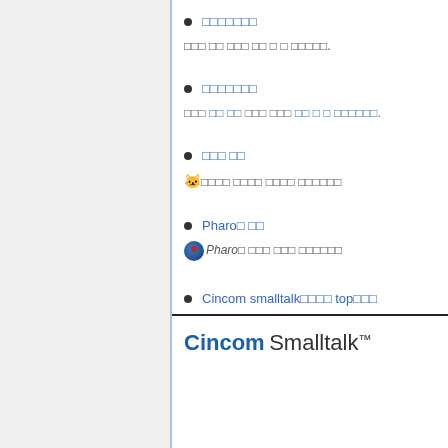⬜⬜⬜⬜⬜⬜⬜
⬜⬜⬜ ⬜⬜ ⬜⬜⬜ ⬜⬜ ⬜ ⬜ ⬜⬜⬜⬜⬜.
⬜⬜⬜⬜⬜⬜⬜
⬜⬜⬜ ⬜⬜ ⬜⬜ ⬜⬜⬜ ⬜⬜⬜ ⬜⬜ ⬜ ⬜ ⬜⬜⬜⬜⬜⬜.
⬜⬜⬜ ⬜⬜
🐱⬜⬜⬜⬜ ⬜⬜⬜⬜ ⬜⬜⬜⬜ ⬜⬜⬜⬜⬜⬜
Pharo⬜ ⬜⬜
🌑Pharo⬜ ⬜⬜⬜ ⬜⬜⬜ ⬜⬜⬜⬜⬜⬜
Cincom smalltalk⬜⬜⬜⬜ top⬜⬜⬜
Cincom Smalltalk™